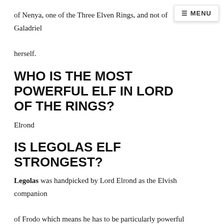of Nenya, one of the Three Elven Rings, and not of Galadriel herself.
≡ MENU
WHO IS THE MOST POWERFUL ELF IN LORD OF THE RINGS?
Elrond
IS LEGOLAS ELF STRONGEST?
Legolas was handpicked by Lord Elrond as the Elvish companion of Frodo which means he has to be particularly powerful among